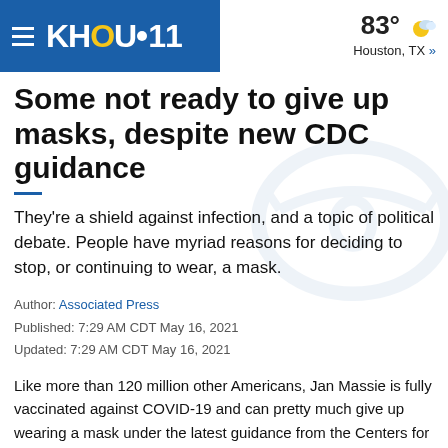KHOU 11 | 83° Houston, TX »
Some not ready to give up masks, despite new CDC guidance
They're a shield against infection, and a topic of political debate. People have myriad reasons for deciding to stop, or continuing to wear, a mask.
Author: Associated Press
Published: 7:29 AM CDT May 16, 2021
Updated: 7:29 AM CDT May 16, 2021
Like more than 120 million other Americans, Jan Massie is fully vaccinated against COVID-19 and can pretty much give up wearing a mask under the latest guidance from the Centers for Disease Control and Prevention. But she's still covering her face, even as the temperature rises in her native Alabama, because of benefits she says are too great